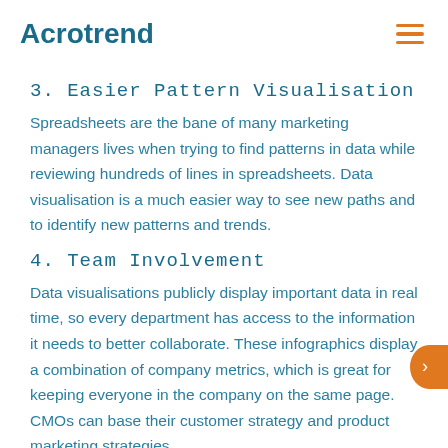Acrotrend
3. Easier Pattern Visualisation
Spreadsheets are the bane of many marketing managers lives when trying to find patterns in data while reviewing hundreds of lines in spreadsheets. Data visualisation is a much easier way to see new paths and to identify new patterns and trends.
4. Team Involvement
Data visualisations publicly display important data in real time, so every department has access to the information it needs to better collaborate. These infographics display a combination of company metrics, which is great for keeping everyone in the company on the same page. CMOs can base their customer strategy and product marketing strategies